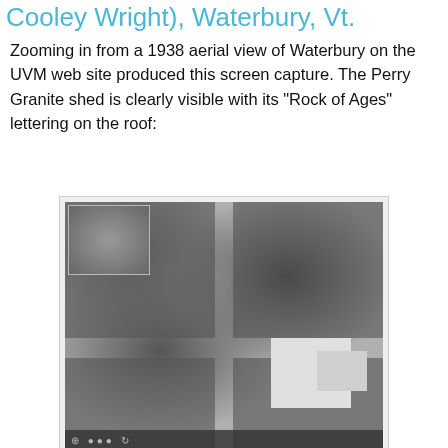Cooley Wright), Waterbury, Vt.
Zooming in from a 1938 aerial view of Waterbury on the UVM web site produced this screen capture. The Perry Granite shed is clearly visible with its "Rock of Ages" lettering on the roof:
[Figure (photo): 1938 aerial view screen capture of Waterbury, Vermont showing the Perry Granite shed with 'Rock of Ages' lettering visible on roof. Black and white aerial photograph with a smaller inset image in the upper left corner and a toolbar strip at the bottom.]
Eventually this building would house the Cooley-Wright Manufacturing Co foundry. Google maps street view of the building. It's in pretty good shape considering how long it's been around.
[Figure (photo): Google Maps street view of the Cooley-Wright Manufacturing Co building in Waterbury, Vermont. Color photograph showing a building with red exterior, partially visible at the bottom of the page.]